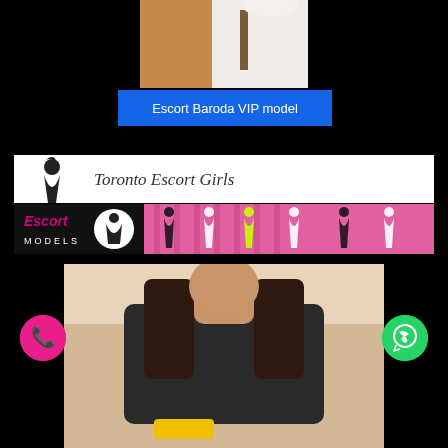[Figure (photo): Partial photo of a person wearing brown skirt and white top, cropped at waist and shoulders, black background]
Escort Baroda VIP model
[Figure (logo): Toronto Escort Girls banner with silhouette logo on white background]
[Figure (logo): Escort Models banner with pink and black design, silhouettes of women]
[Figure (photo): Photo of a woman in black t-shirt with long dark hair, cropped, light background]
[Figure (illustration): Pink phone call button icon (circle)]
[Figure (illustration): Green WhatsApp icon button (circle)]